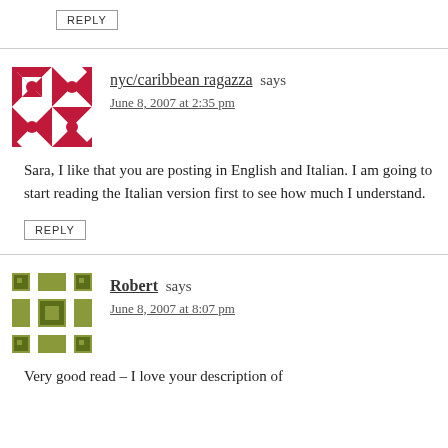REPLY
nyc/caribbean ragazza says
June 8, 2007 at 2:35 pm
Sara, I like that you are posting in English and Italian. I am going to start reading the Italian version first to see how much I understand.
REPLY
Robert says
June 8, 2007 at 8:07 pm
Very good read – I love your description of